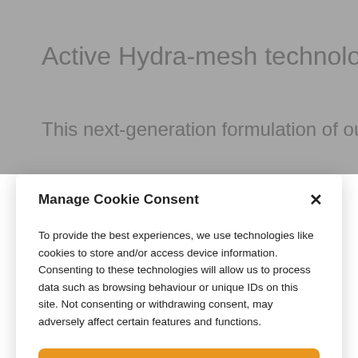Active Hydra-mesh technology
This next-generation formulation of our best-selling
Manage Cookie Consent
To provide the best experiences, we use technologies like cookies to store and/or access device information. Consenting to these technologies will allow us to process data such as browsing behaviour or unique IDs on this site. Not consenting or withdrawing consent, may adversely affect certain features and functions.
Accept
Deny
View preferences